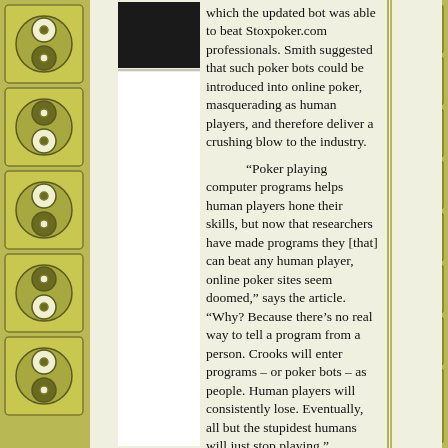[Figure (photo): Dark/black rectangular image at top of left column]
which the updated bot was able to beat Stoxpoker.com professionals. Smith suggested that such poker bots could be introduced into online poker, masquerading as human players, and therefore deliver a crushing blow to the industry.

“Poker playing computer programs helps human players hone their skills, but now that researchers have made programs they [that] can beat any human player, online poker sites seem doomed,” says the article. “Why? Because there’s no real way to tell a program from a person. Crooks will enter programs – or poker bots – as people. Human players will consistently lose. Eventually, all but the stupidest humans will just stop playing.”

However, online poker rooms like Poker Stars